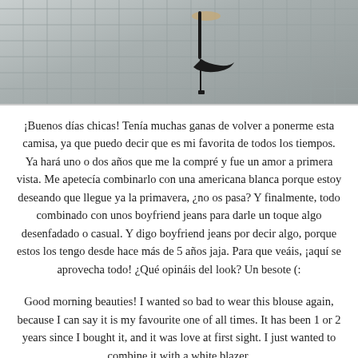[Figure (photo): Close-up photo of feet wearing black high heel shoes standing on a grey cobblestone/tile pavement]
¡Buenos días chicas! Tenía muchas ganas de volver a ponerme esta camisa, ya que puedo decir que es mi favorita de todos los tiempos. Ya hará uno o dos años que me la compré y fue un amor a primera vista. Me apetecía combinarlo con una americana blanca porque estoy deseando que llegue ya la primavera, ¿no os pasa? Y finalmente, todo combinado con unos boyfriend jeans para darle un toque algo desenfadado o casual. Y digo boyfriend jeans por decir algo, porque estos los tengo desde hace más de 5 años jaja. Para que veáis, ¡aquí se aprovecha todo! ¿Qué opináis del look? Un besote (:
Good morning beauties! I wanted so bad to wear this blouse again, because I can say it is my favourite one of all times. It has been 1 or 2 years since I bought it, and it was love at first sight. I just wanted to combine it with a white blazer,